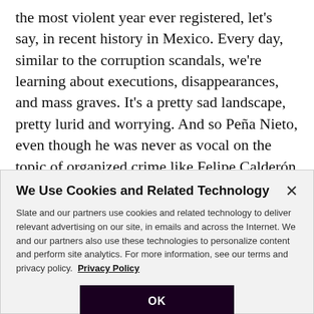the most violent year ever registered, let's say, in recent history in Mexico. Every day, similar to the corruption scandals, we're learning about executions, disappearances, and mass graves. It's a pretty sad landscape, pretty lurid and worrying. And so Peña Nieto, even though he was never as vocal on the topic of organized crime like Felipe Calderón was, has basically seen it become the main topic of his six years in
We Use Cookies and Related Technology
Slate and our partners use cookies and related technology to deliver relevant advertising on our site, in emails and across the Internet. We and our partners also use these technologies to personalize content and perform site analytics. For more information, see our terms and privacy policy. Privacy Policy